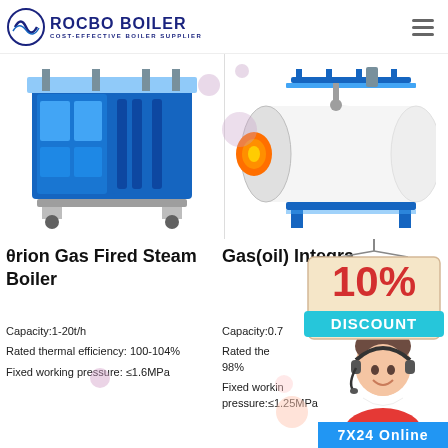ROCBO BOILER - COST-EFFECTIVE BOILER SUPPLIER
[Figure (photo): Blue industrial gas fired steam boiler unit (Theta rion model), modular rectangular design with blue casing and piping]
[Figure (photo): White cylindrical horizontal gas/oil integrated steam boiler with blue frame stand and orange burner]
θrion Gas Fired Steam Boiler
Gas(oil) Integrated [partially obscured by discount badge]
[Figure (infographic): 10% DISCOUNT promotional badge hanging sign overlay]
Capacity:1-20t/h
Rated thermal efficiency: 100-104%
Fixed working pressure: ≤1.6MPa
Capacity:0.7 [partially obscured]
Rated the[rmal efficiency:] 98%
Fixed working pressure:≤1.25MPa
[Figure (photo): Customer service agent woman with headset smiling, partially visible]
7X24 Online